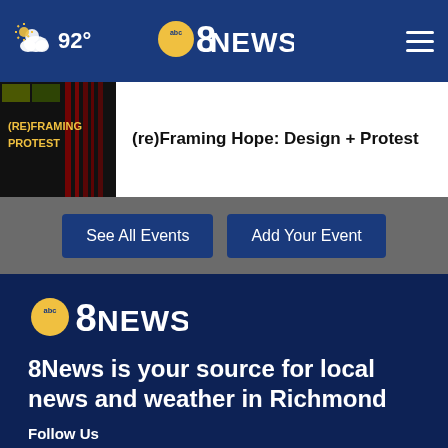92° abc 8 NEWS navigation bar
(re)Framing Hope: Design + Protest
See All Events | Add Your Event
[Figure (logo): abc 8NEWS logo in footer]
8News is your source for local news and weather in Richmond and Central Virginia
Follow Us